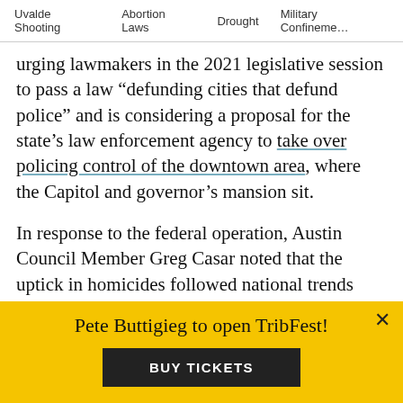Uvalde Shooting   Abortion Laws   Drought   Military Confinement
urging lawmakers in the 2021 legislative session to pass a law “defunding cities that defund police” and is considering a proposal for the state’s law enforcement agency to take over policing control of the downtown area, where the Capitol and governor’s mansion sit.
In response to the federal operation, Austin Council Member Greg Casar noted that the uptick in homicides followed national trends during the pandemic, and that it began early in the year.
“We absolutely must do better to keep everyone safe, especially in low-income areas. That’s exactly what our City Council is committed to doing through our new
[Figure (infographic): Yellow advertisement banner: 'Pete Buttigieg to open TribFest!' with a black 'BUY TICKETS' button and a close (x) icon in the top right corner.]